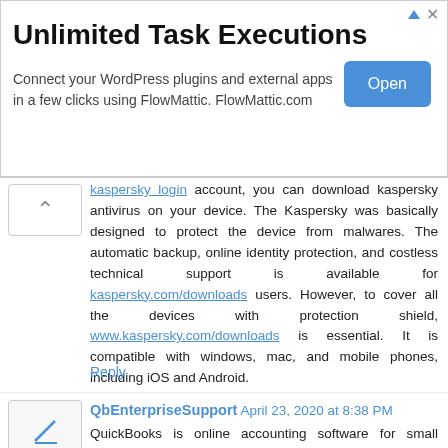[Figure (other): Advertisement banner: Unlimited Task Executions. Connect your WordPress plugins and external apps in a few clicks using FlowMattic. FlowMattic.com. Open button.]
kaspersky login account, you can download kaspersky antivirus on your device. The Kaspersky was basically designed to protect the device from malwares. The automatic backup, online identity protection, and costless technical support is available for kaspersky.com/downloads users. However, to cover all the devices with protection shield, www.kaspersky.com/downloads is essential. It is compatible with windows, mac, and mobile phones, including iOS and Android.
Reply
QbEnterpriseSupport April 23, 2020 at 8:38 PM
QuickBooks is online accounting software for small businesses, now it is available in India. Login to QuickBooks Software to manage GST.
qb online login | how do i write off an invoice in